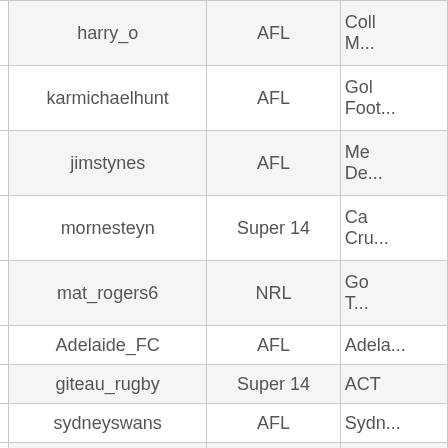|  | username | league | team |
| --- | --- | --- | --- |
| harry_o | AFL | Coll M... |
| karmichaelhunt | AFL | Gol Foot... |
| jimstynes | AFL | Me De... |
| mornesteyn | Super 14 | Ca Cr... |
| mat_rogers6 | NRL | Go T... |
| Adelaide_FC | AFL | Adela... |
| giteau_rugby | Super 14 | ACT |
| sydneyswans | AFL | Sydn... |
| JobeWatson | AFL | Ess Bo... |
| JamesOConnor832 | Super 14 | West... |